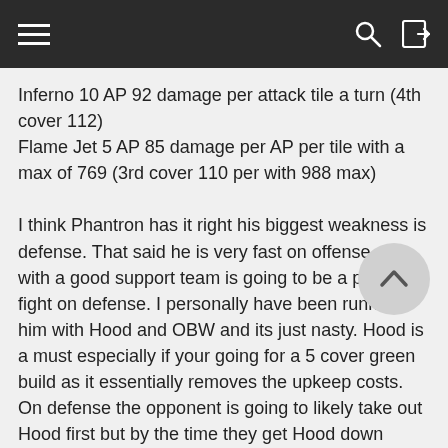Inferno 10 AP 92 damage per attack tile a turn (4th cover 112)
Flame Jet 5 AP 85 damage per AP per tile with a max of 769 (3rd cover 110 per with 988 max)

I think Phantron has it right his biggest weakness is defense. That said he is very fast on offense and with a good support team is going to be a painful fight on defense. I personally have been running him with Hood and OBW and its just nasty. Hood is a must especially if your going for a 5 cover green build as it essentially removes the upkeep costs. On defense the opponent is going to likely take out Hood first but by the time they get Hood down (given his ability to drag the